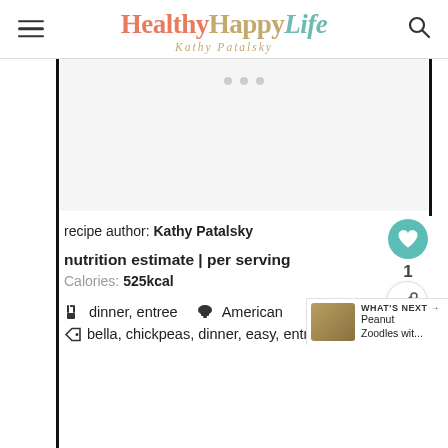HealthyHappyLife - Kathy Patalsky
[Figure (other): Advertisement placeholder area with three grey dots]
recipe author: Kathy Patalsky
nutrition estimate | per serving
Calories: 525kcal
dinner, entree   American
bella, chickpeas, dinner, easy, entree, gluten